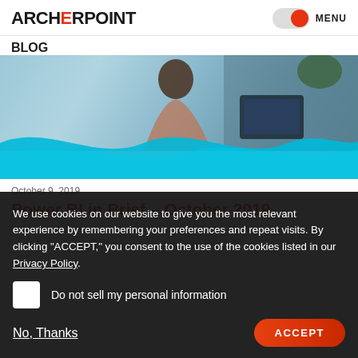ARCHERPOINT  MENU
BLOG
[Figure (photo): Hero image showing a person looking at a laptop/monitor, with a wave graphic overlay in light blue]
October 9, 2019
Power BI in Brief – October 2019
We use cookies on our website to give you the most relevant experience by remembering your preferences and repeat visits. By clicking "ACCEPT," you consent to the use of the cookies listed in our Privacy Policy.
Do not sell my personal information
No, Thanks  ACCEPT